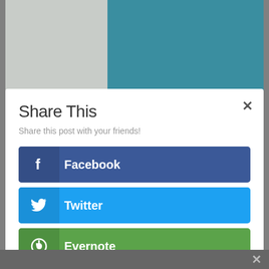[Figure (photo): Photo showing a person in a teal outfit standing near a cabinet/display case with white shelving]
Share This
Share this post with your friends!
Facebook
Twitter
Evernote
Pinterest
reddit